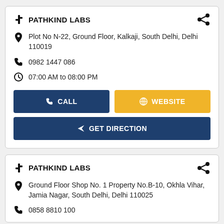PATHKIND LABS
Plot No N-22, Ground Floor, Kalkaji, South Delhi, Delhi 110019
0982 1447 086
07:00 AM to 08:00 PM
CALL
WEBSITE
GET DIRECTION
PATHKIND LABS
Ground Floor Shop No. 1 Property No.B-10, Okhla Vihar, Jamia Nagar, South Delhi, Delhi 110025
0858 8810 100